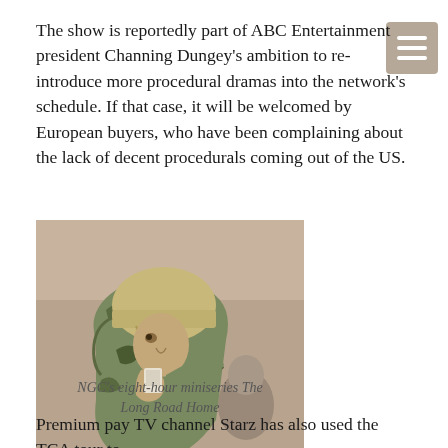The show is reportedly part of ABC Entertainment president Channing Dungey's ambition to re-introduce more procedural dramas into the network's schedule. If that case, it will be welcomed by European buyers, who have been complaining about the lack of decent procedurals coming out of the US.
[Figure (photo): A soldier in camouflage uniform and tan helmet, bending forward and speaking into a radio or communication device, with another person partially visible in the background.]
NGC's eight-hour miniseries The Long Road Home
Premium pay TV channel Starz has also used the TCA tour to